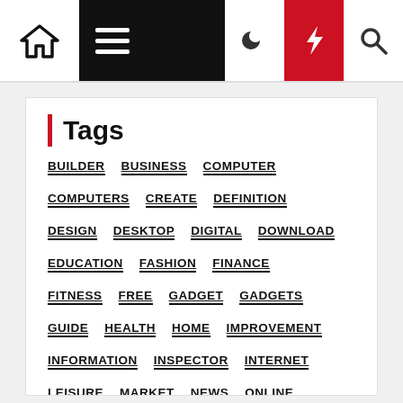Navigation bar with home icon, hamburger menu, moon icon, lightning icon, search icon
Tags
BUILDER
BUSINESS
COMPUTER
COMPUTERS
CREATE
DEFINITION
DESIGN
DESKTOP
DIGITAL
DOWNLOAD
EDUCATION
FASHION
FINANCE
FITNESS
FREE
GADGET
GADGETS
GUIDE
HEALTH
HOME
IMPROVEMENT
INFORMATION
INSPECTOR
INTERNET
LEISURE
MARKET
NEWS
ONLINE
PROVIDERS
REVIEW
SCIENCE
SERVICE
SOFTWARE
SPEED
TECH
TECHNOLOGY
TEST
TOP
TRAVEL
UNIVERSITY
WEB
WEBSITE
WEBSITES
WINDOWS
WORLD